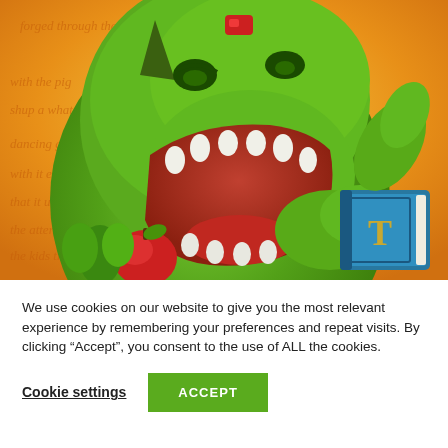[Figure (illustration): A cartoon green dragon/dinosaur character with its mouth wide open, holding and reading a blue book with a 'T' on the cover. A red apple and green leaves are visible at the bottom left. The background is a warm orange/yellow color with handwritten-style cursive text overlaid. The dragon has a red gem on its forehead.]
We use cookies on our website to give you the most relevant experience by remembering your preferences and repeat visits. By clicking “Accept”, you consent to the use of ALL the cookies.